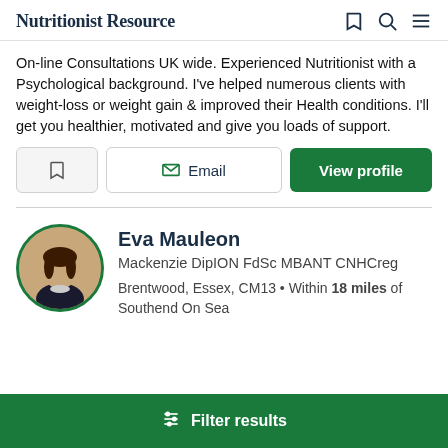Nutritionist Resource
On-line Consultations UK wide. Experienced Nutritionist with a Psychological background. I've helped numerous clients with weight-loss or weight gain & improved their Health conditions. I'll get you healthier, motivated and give you loads of support.
Email | View profile
Eva Mauleon
Mackenzie DipION FdSc MBANT CNHCreg
Brentwood, Essex, CM13 • Within 18 miles of Southend On Sea
Filter results